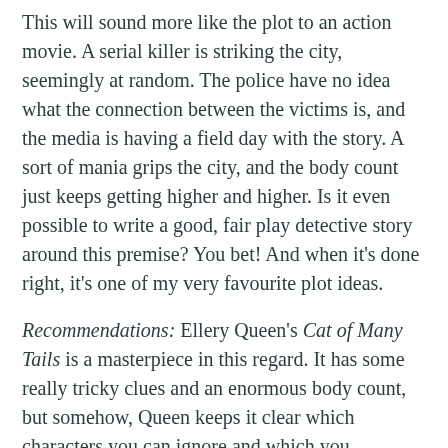This will sound more like the plot to an action movie. A serial killer is striking the city, seemingly at random. The police have no idea what the connection between the victims is, and the media is having a field day with the story. A sort of mania grips the city, and the body count just keeps getting higher and higher. Is it even possible to write a good, fair play detective story around this premise? You bet! And when it's done right, it's one of my very favourite plot ideas.
Recommendations: Ellery Queen's Cat of Many Tails is a masterpiece in this regard. It has some really tricky clues and an enormous body count, but somehow, Queen keeps it clear which characters you can ignore and which you shouldn't dismiss. New York City itself becomes a character in these proceedings, as a serial killer known as the Cat strangles his victims to death. And after every new killing, a picture of a cat is printed in the papers, with one tail more than it had last time…
Agatha Christie's The A.B.C. Murders is another example of a successful serial killer story done right. It was done so right, in fact, that many authors started to rip off her solution